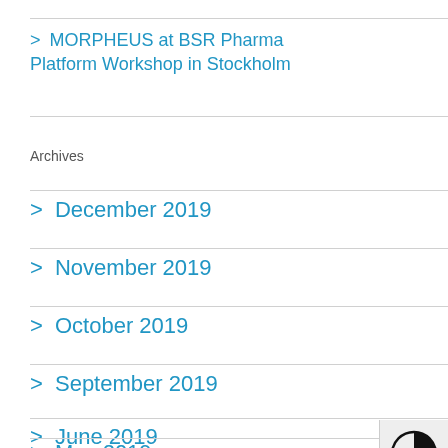> MORPHEUS at BSR Pharma Platform Workshop in Stockholm
> December 2019
> November 2019
> October 2019
> September 2019
> June 2019
> May 2019
Archives
[Figure (other): Accessibility toolbar with contrast toggle icon (half-filled circle) and text size toggle (T+ icon)]